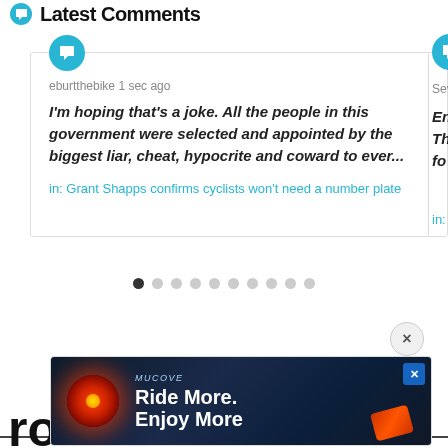Latest Comments
eburtthebike 1 sec ago
I'm hoping that's a joke. All the people in this government were selected and appointed by the biggest liar, cheat, hypocrite and coward to ever...
in: Grant Shapps confirms cyclists won't need a number plate
Sev...
En... Th... fo...
in:
[Figure (screenshot): Advertisement banner for cycling product showing a red light and text 'Ride More. Enjoy More']